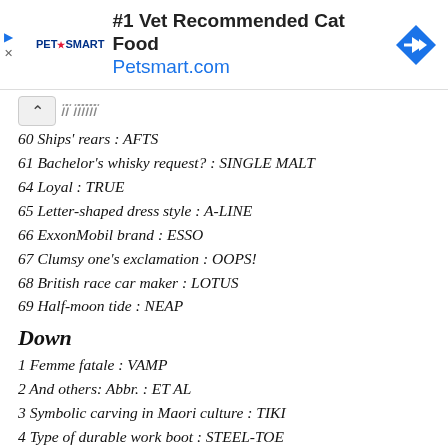[Figure (other): PetSmart advertisement banner: #1 Vet Recommended Cat Food, Petsmart.com]
60 Ships' rears : AFTS
61 Bachelor's whisky request? : SINGLE MALT
64 Loyal : TRUE
65 Letter-shaped dress style : A-LINE
66 ExxonMobil brand : ESSO
67 Clumsy one's exclamation : OOPS!
68 British race car maker : LOTUS
69 Half-moon tide : NEAP
Down
1 Femme fatale : VAMP
2 And others: Abbr. : ET AL
3 Symbolic carving in Maori culture : TIKI
4 Type of durable work boot : STEEL-TOE
5 Insane, as a scheme : NUTSO